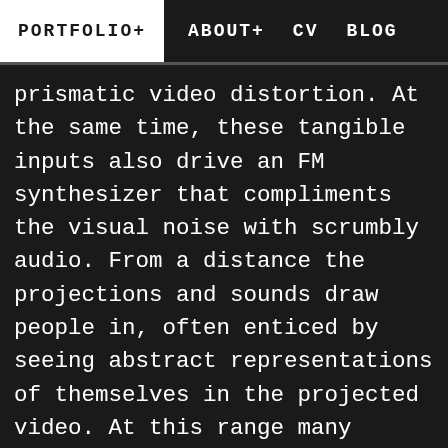PORTFOLIO+   ABOUT+   CV   BLOG
prismatic video distortion. At the same time, these tangible inputs also drive an FM synthesizer that compliments the visual noise with scrumbly audio. From a distance the projections and sounds draw people in, often enticed by seeing abstract representations of themselves in the projected video. At this range many people can engage with the work simultaneously, while at a more intimate scale one person can play the interface for the gathered audience. By combing these elements the installation allows people to transform the world around them into